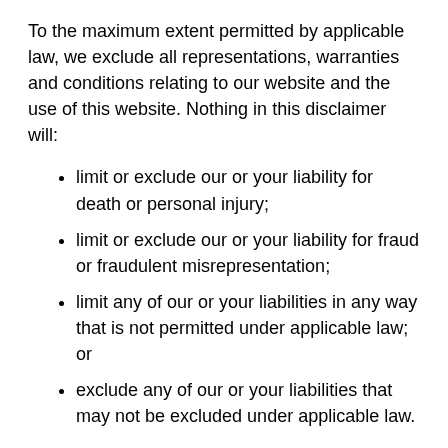To the maximum extent permitted by applicable law, we exclude all representations, warranties and conditions relating to our website and the use of this website. Nothing in this disclaimer will:
limit or exclude our or your liability for death or personal injury;
limit or exclude our or your liability for fraud or fraudulent misrepresentation;
limit any of our or your liabilities in any way that is not permitted under applicable law; or
exclude any of our or your liabilities that may not be excluded under applicable law.
The limitations and prohibitions of liability set in this Section and elsewhere in this disclaimer: (a)